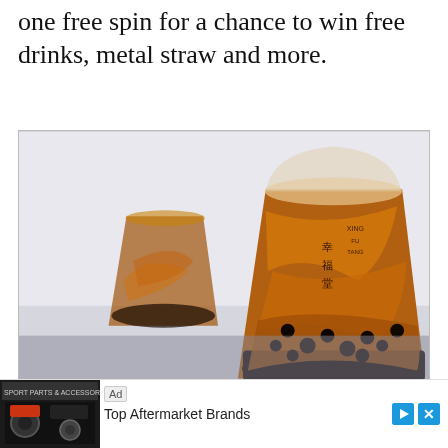one free spin for a chance to win free drinks, metal straw and more.
[Figure (photo): Two clear plastic cups of brown sugar boba milk tea with Chinese characters on them, placed on a grey textured surface against a light background. The brand name appears to be Xing Fu Tang (幸福堂).]
The stir-fried Brown Sugar Boba Milk is Xing
Ad  Top Aftermarket Brands